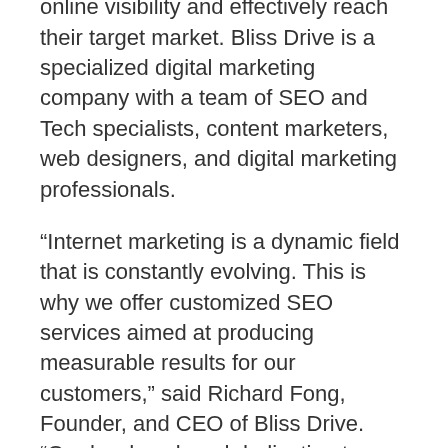businesses seeking to increase their online visibility and effectively reach their target market. Bliss Drive is a specialized digital marketing company with a team of SEO and Tech specialists, content marketers, web designers, and digital marketing professionals.
“Internet marketing is a dynamic field that is constantly evolving. This is why we offer customized SEO services aimed at producing measurable results for our customers,” said Richard Fong, Founder, and CEO of Bliss Drive. “Our hard work and dedication to online optimization has paid off. Our current number-one ranking for our services underscores our brand’s mission statement.” To learn more about Bliss Drive’s local SEO marketing services, visit their page: https://www.blissdrive.com/local-seo-services/.
Bliss Drive prides itself on offering 100% transparency and proactive communication in its digital marketing services, thereby standing